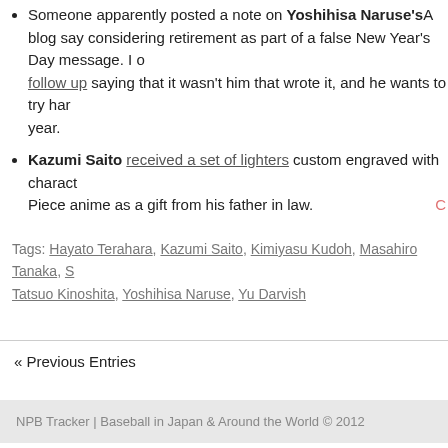Someone apparently posted a note on Yoshihisa Naruse's A blog saying considering retirement as part of a false New Year's Day message. I one follow up saying that it wasn't him that wrote it, and he wants to try hard year.
Kazumi Saito received a set of lighters custom engraved with characters from One Piece anime as a gift from his father in law.
Tags: Hayato Terahara, Kazumi Saito, Kimiyasu Kudoh, Masahiro Tanaka, S... Tatsuo Kinoshita, Yoshihisa Naruse, Yu Darvish
« Previous Entries
NPB Tracker | Baseball in Japan & Around the World © 2012